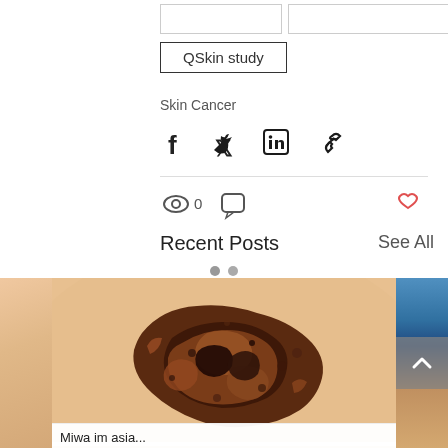QSkin study
Skin Cancer
[Figure (infographic): Social share icons: Facebook, Twitter, LinkedIn, link/chain]
[Figure (infographic): Post stats: eye icon with 0 views, comment bubble icon, heart (like) icon in red/outline]
Recent Posts
See All
[Figure (photo): A close-up photo of a dark brown irregular melanoma lesion on skin, shown in the center panel. Partial images of other posts visible on left and right sides.]
Miwa im asia...